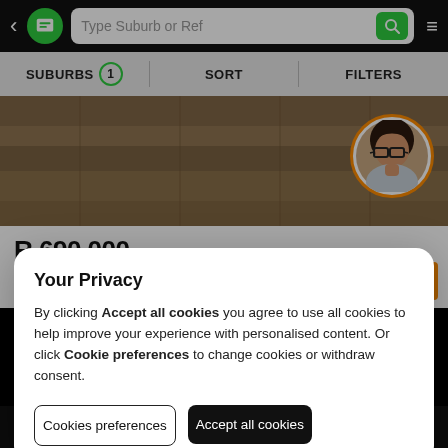< [logo] Type Suburb or Ref [search] ≡
SUBURBS (1) | SORT | FILTERS
[Figure (photo): Property listing image showing an exterior/ground view with warm brown tones, with a circular agent photo overlay (woman with glasses and dark hair, orange border)]
R 690 000
Townhouse
Ormonde
54 Ormonde View Estates 11 N...
Your Privacy
By clicking Accept all cookies you agree to use all cookies to help improve your experience with personalised content. Or click Cookie preferences to change cookies or withdraw consent.
Cookies preferences
Accept all cookies
[logo] properties | GET ALERTS